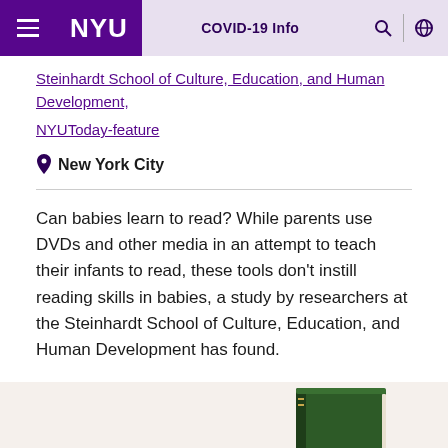NYU | COVID-19 Info
Steinhardt School of Culture, Education, and Human Development,
NYUToday-feature
New York City
Can babies learn to read? While parents use DVDs and other media in an attempt to teach their infants to read, these tools don't instill reading skills in babies, a study by researchers at the Steinhardt School of Culture, Education, and Human Development has found.
[Figure (photo): A hand holding a green hardcover book against a white background, book partially visible from below.]